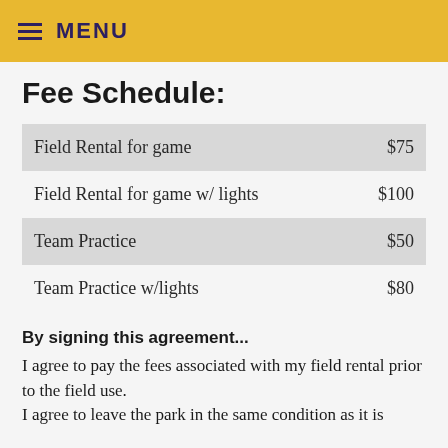MENU
Fee Schedule:
|  |  |
| --- | --- |
| Field Rental for game | $75 |
| Field Rental for game w/ lights | $100 |
| Team Practice | $50 |
| Team Practice w/lights | $80 |
By signing this agreement...
I agree to pay the fees associated with my field rental prior to the field use.
I agree to leave the park in the same condition as it is